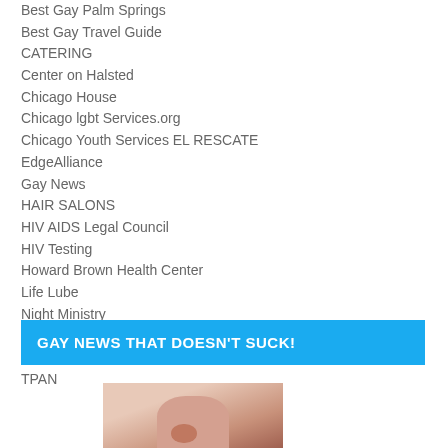Best Gay Palm Springs
Best Gay Travel Guide
CATERING
Center on Halsted
Chicago House
Chicago lgbt Services.org
Chicago Youth Services EL RESCATE
EdgeAlliance
Gay News
HAIR SALONS
HIV AIDS Legal Council
HIV Testing
Howard Brown Health Center
Life Lube
Night Ministry
REALTOR
The CRIB
TPAN
GAY NEWS THAT DOESN'T SUCK!
[Figure (photo): Close-up photo of a person's face, side profile showing nose and lips]